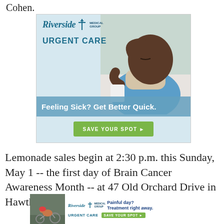Cohen.
[Figure (illustration): Riverside Medical Group Urgent Care advertisement showing a sick man holding his forehead and a cup, wearing a scarf, with text 'Feeling Sick? Get Better Quick.' and a green 'SAVE YOUR SPOT' button]
Lemonade sales begin at 2:30 p.m. this Sunday, May 1 -- the first day of Brain Cancer Awareness Month -- at 47 Old Orchard Drive in Hawthorne. Be
[Figure (illustration): Riverside Medical Group Urgent Care bottom banner ad with a cyclist down photo, text 'Painful day? Treatment right away.' and green 'SAVE YOUR SPOT' button]